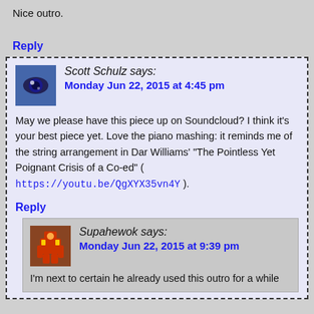Nice outro.
Reply
Scott Schulz says: Monday Jun 22, 2015 at 4:45 pm
May we please have this piece up on Soundcloud? I think it's your best piece yet. Love the piano mashing: it reminds me of the string arrangement in Dar Williams' "The Pointless Yet Poignant Crisis of a Co-ed" ( https://youtu.be/QgXYX35vn4Y ).
Reply
Supahewok says: Monday Jun 22, 2015 at 9:39 pm
I'm next to certain he already used this outro for a while